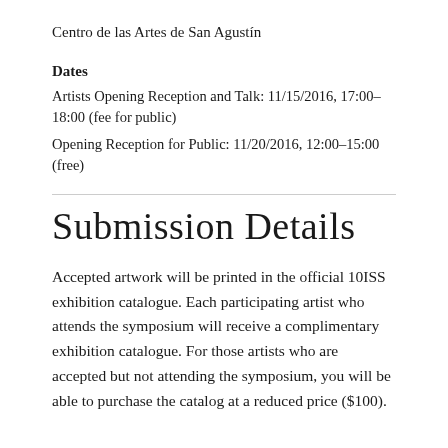Centro de las Artes de San Agustín
Dates
Artists Opening Reception and Talk: 11/15/2016, 17:00–18:00 (fee for public)
Opening Reception for Public: 11/20/2016, 12:00–15:00 (free)
Submission Details
Accepted artwork will be printed in the official 10ISS exhibition catalogue. Each participating artist who attends the symposium will receive a complimentary exhibition catalogue. For those artists who are accepted but not attending the symposium, you will be able to purchase the catalog at a reduced price ($100).